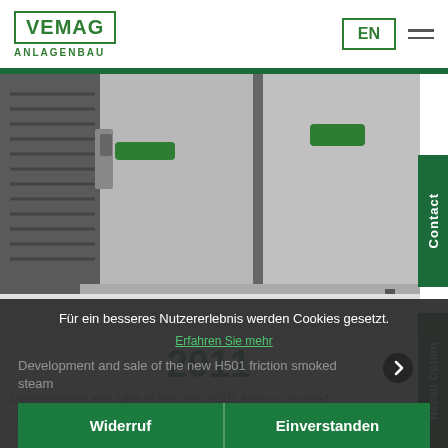VEMAG ANLAGENBAU | EN
[Figure (photo): Close-up photo of a VEMAG industrial machine showing stainless steel cabinet panels with green handles and black adjustable feet on the bottom.]
2011
Development and sale of the new H501 friction smoked steam
Für ein besseres Nutzererlebnis werden Cookies gesetzt. Erfahren Sie mehr
Widerruf | Einverstanden